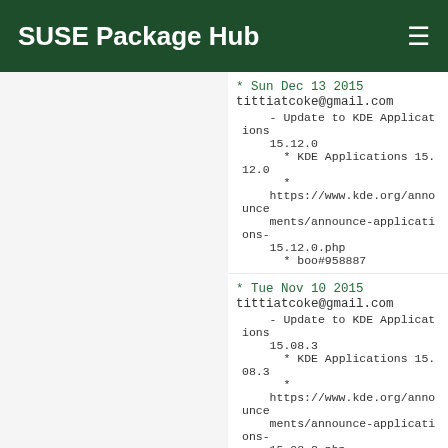SUSE Package Hub
* Sun Dec 13 2015
tittiatcoke@gmail.com
    - Update to KDE Applications 15.12.0
      * KDE Applications 15.12.0
      *
    https://www.kde.org/announcements/announce-applications-15.12.0.php
      * boo#958887
* Tue Nov 10 2015
tittiatcoke@gmail.com
    - Update to KDE Applications 15.08.3
      * KDE Applications 15.08.3
      *
    https://www.kde.org/announcements/announce-applications-15.08.3.php
      * boo#954531
* Sun Oct 11 2015
tittiatcoke@gmail.com
    - Update to KDE Applications 15.08.2
      * KDE Applications 15.08.2
      *
    https://www.kde.org/announcements/announce-applications-15.08.2.php